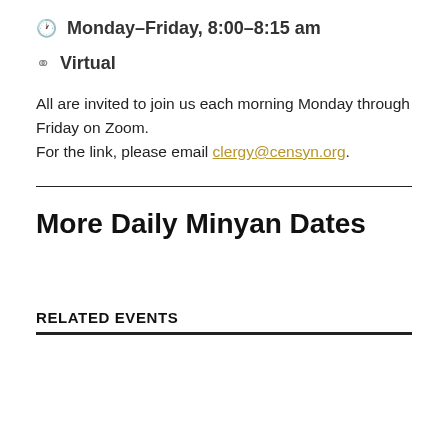🕐 Monday–Friday, 8:00–8:15 am
📍 Virtual
All are invited to join us each morning Monday through Friday on Zoom.
For the link, please email clergy@censyn.org.
More Daily Minyan Dates
RELATED EVENTS